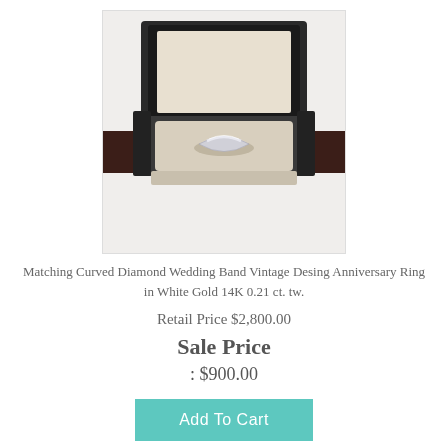[Figure (photo): A diamond wedding ring displayed in an open jewelry box with cream lining and dark exterior, photographed on a white background.]
Matching Curved Diamond Wedding Band Vintage Desing Anniversary Ring in White Gold 14K 0.21 ct. tw.
Retail Price $2,800.00
Sale Price
: $900.00
Add To Cart